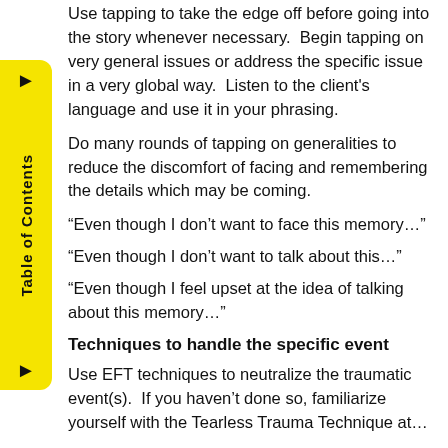Use tapping to take the edge off before going into the story whenever necessary.  Begin tapping on very general issues or address the specific issue in a very global way.  Listen to the client's language and use it in your phrasing.
Do many rounds of tapping on generalities to reduce the discomfort of facing and remembering the details which may be coming.
“Even though I don’t want to face this memory…”
“Even though I don’t want to talk about this…”
“Even though I feel upset at the idea of talking about this memory…”
Techniques to handle the specific event
Use EFT techniques to neutralize the traumatic event(s).  If you haven’t done so, familiarize yourself with the Tearless Trauma Technique at…